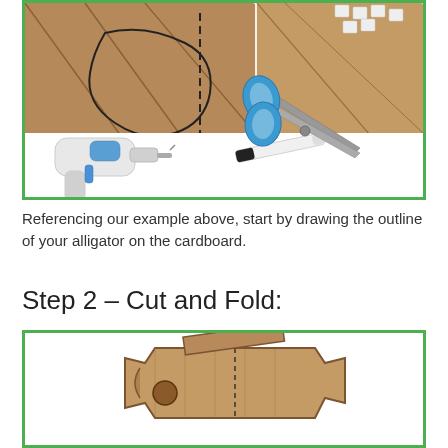[Figure (photo): Photo of cardboard with drawn alligator outline, a white hot glue gun, a black marker, and blue scissors on a white background.]
Referencing our example above, start by drawing the outline of your alligator on the cardboard.
Step 2 – Cut and Fold:
[Figure (photo): Photo of cut and folded brown cardboard shaped like an alligator body piece, showing folding and cutting progress.]